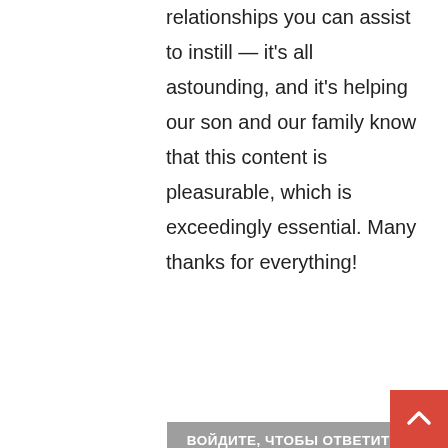relationships you can assist to instill — it's all astounding, and it's helping our son and our family know that this content is pleasurable, which is exceedingly essential. Many thanks for everything!
Войдите, Чтобы Ответить
supreme
8 января, 2022
My husband and i have been absolutely more than happy when Louis could carry out his research by way of the ideas he received from your web page. It is now and again perplexing to just continually be